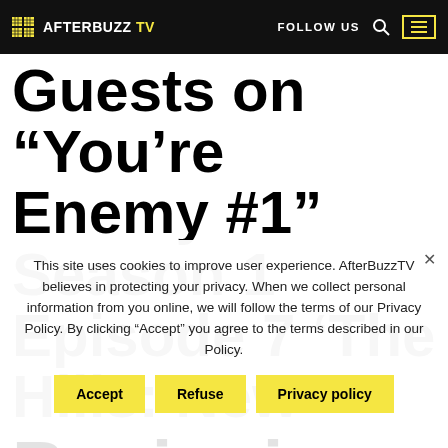AFTERBUZZ TV — FOLLOW US
Guests on “You’re Enemy #1” Season 1 Episode 7 ‘The Hills: New Beginnings’ Review
This site uses cookies to improve user experience. AfterBuzzTV believes in protecting your privacy. When we collect personal information from you online, we will follow the terms of our Privacy Policy. By clicking “Accept” you agree to the terms described in our Policy.